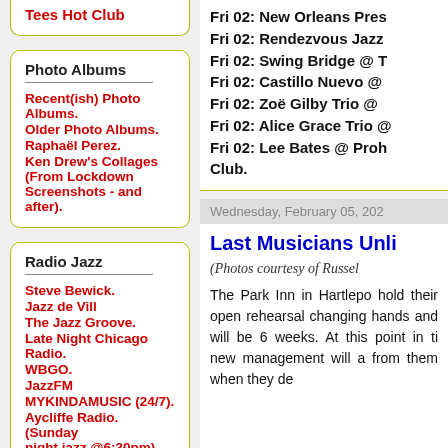Tees Hot Club
Photo Albums
Recent(ish) Photo Albums.
Older Photo Albums.
Raphaël Perez.
Ken Drew's Collages (From Lockdown Screenshots - and after).
Radio Jazz
Steve Bewick.
Jazz de Vill
The Jazz Groove.
Late Night Chicago Radio.
WBGO.
JazzFM
MYKINDAMUSIC (24/7).
Aycliffe Radio. (Sunday night jazz @6:30pm).
Fri 02: New Orleans Pres
Fri 02: Rendezvous Jazz
Fri 02: Swing Bridge @ T
Fri 02: Castillo Nuevo @
Fri 02: Zoë Gilby Trio @
Fri 02: Alice Grace Trio @
Fri 02: Lee Bates @ Proh Club.
Wednesday, February 05, 202
Last Musicians Unli
(Photos courtesy of Russel
The Park Inn in Hartlepo hold their open rehearsal changing hands and will be 6 weeks. At this point in ti new management will a from them when they de